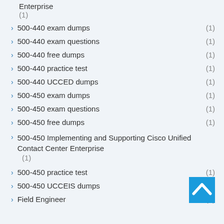Enterprise
(1)
500-440 exam dumps (1)
500-440 exam questions (1)
500-440 free dumps (1)
500-440 practice test (1)
500-440 UCCED dumps (1)
500-450 exam dumps (1)
500-450 exam questions (1)
500-450 free dumps (1)
500-450 Implementing and Supporting Cisco Unified Contact Center Enterprise
(1)
500-450 practice test (1)
500-450 UCCEIS dumps (1)
Field Engineer (1)